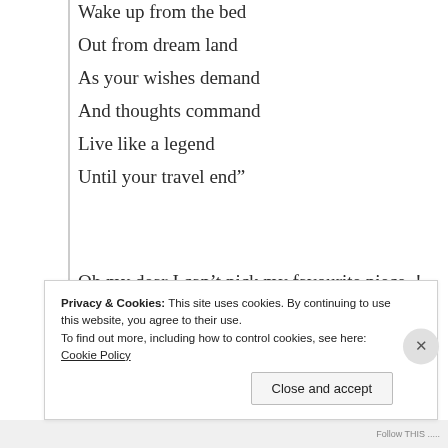Wake up from the bed
Out from dream land
As your wishes demand
And thoughts command
Live like a legend
Until your travel end”
Oh my dear I can’t pick my favourite piece..! Because, the whole poem is became my favourite one of yours..! Sure I will save this with me..! I will always read this piece..! You are the gift..! Fantastic
Privacy & Cookies: This site uses cookies. By continuing to use this website, you agree to their use.
To find out more, including how to control cookies, see here: Cookie Policy
Close and accept